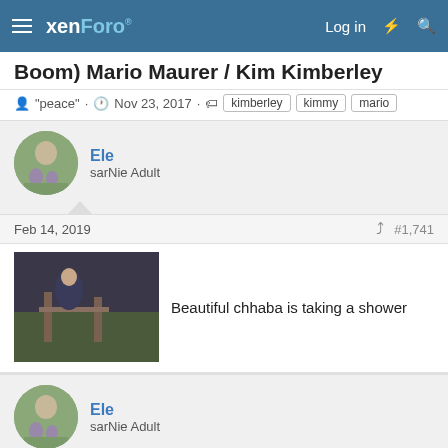xenForo  Log in
Boom) Mario Maurer / Kim Kimberley
"peace" · Nov 23, 2017 · kimberley kimmy mario
Ele
sarNie Adult
Feb 14, 2019  #1,741
[Figure (photo): A dark photo showing a person near wooden fence structure outdoors]
Beautiful chhaba is taking a shower
Ele
sarNie Adult
Feb 14, 2019  #1,742